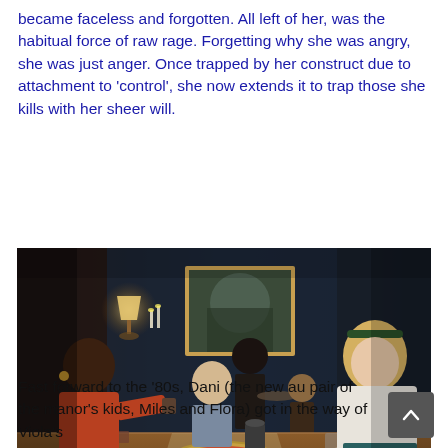became faceless and forgotten. All left of her, was the habitual force of raw rage. Forgetting why she was angry, she was just anger. Once trapped by her construct due to attachment to 'control', she now extends it to trap those she kills with her sheer will.
[Figure (photo): A dinner scene in a dark, ornate dining room. Several people are seated at a long wooden table with food and dishes. A woman in a rust-colored turtleneck is on the left, a young boy in the center-left, a woman in a light shirt on the far right, and two figures visible in the background near a large painting.]
Fast forward to the '80s, Dani (the new au pair of the manor's kids, Miles and Flora) got in the way of Viola's